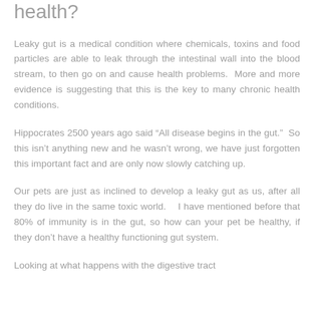health?
Leaky gut is a medical condition where chemicals, toxins and food particles are able to leak through the intestinal wall into the blood stream, to then go on and cause health problems.  More and more evidence is suggesting that this is the key to many chronic health conditions.
Hippocrates 2500 years ago said “All disease begins in the gut.”  So this isn’t anything new and he wasn’t wrong, we have just forgotten this important fact and are only now slowly catching up.
Our pets are just as inclined to develop a leaky gut as us, after all they do live in the same toxic world.   I have mentioned before that 80% of immunity is in the gut, so how can your pet be healthy, if they don’t have a healthy functioning gut system.
Looking at what happens with the digestive tract